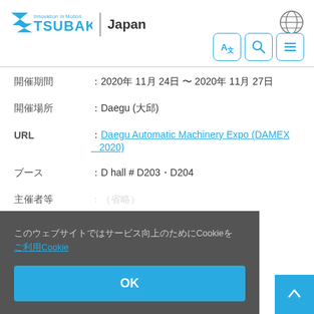TSUBAKI Innovation in Motion | Japan
開催期間 ：2020年 11月 24日 〜 2020年 11月 27日
開催場所 ：Daegu (大邱)
URL ：Daegu Automatic Machinery Expo (DAMEX 2020)
ブース ：Dhall # D203・D204
主催者等 ：（省略）
このウェブサイトではサービス向上のためにCookieを　ご利用Cookie ポリシー
OK